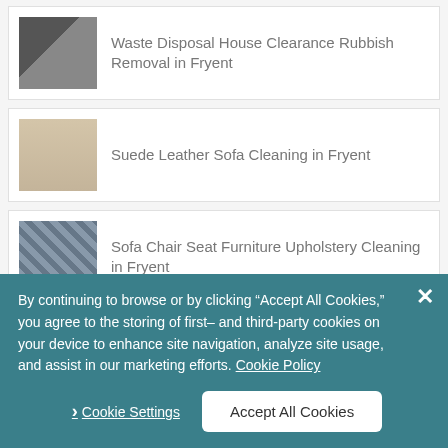Waste Disposal House Clearance Rubbish Removal in Fryent
Suede Leather Sofa Cleaning in Fryent
Sofa Chair Seat Furniture Upholstery Cleaning in Fryent
Domestic & Commercial Window Cleaning in Fryent
(partial, cut off)
By continuing to browse or by clicking “Accept All Cookies,” you agree to the storing of first- and third-party cookies on your device to enhance site navigation, analyze site usage, and assist in our marketing efforts. Cookie Policy
› Cookie Settings
Accept All Cookies